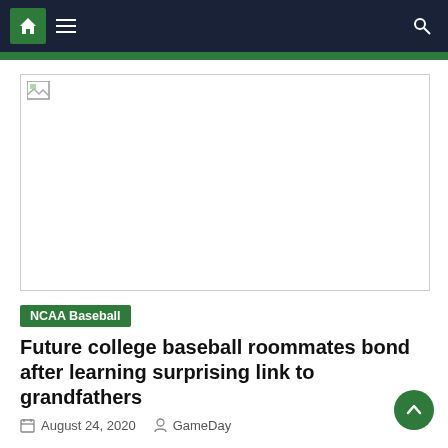NCAA Baseball – GameDay website navigation bar
[Figure (other): Broken/missing image placeholder with small broken image icon, shown as a white rectangle with a thin border]
NCAA Baseball
Future college baseball roommates bond after learning surprising link to grandfathers
August 24, 2020   GameDay